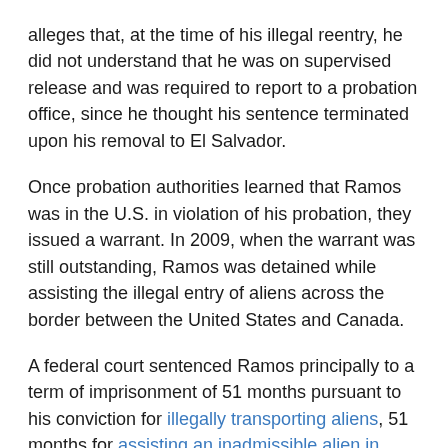alleges that, at the time of his illegal reentry, he did not understand that he was on supervised release and was required to report to a probation office, since he thought his sentence terminated upon his removal to El Salvador.
Once probation authorities learned that Ramos was in the U.S. in violation of his probation, they issued a warrant. In 2009, when the warrant was still outstanding, Ramos was detained while assisting the illegal entry of aliens across the border between the United States and Canada.
A federal court sentenced Ramos principally to a term of imprisonment of 51 months pursuant to his conviction for illegally transporting aliens, 51 months for assisting an inadmissible alien in entering the United States, and 24 months for illegally being present in the United States after having previously been removed, all terms of imprisonment to run concurrently. Ramos claimed that the district court